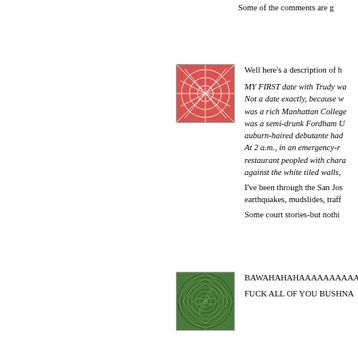Some of the comments are g
[Figure (illustration): Red square avatar with white line pattern resembling abstract web or cracked pattern]
Well here's a description of h

MY FIRST date with Trudy wa Not a date exactly, because w was a rich Manhattan College was a semi-drunk Fordham U auburn-haired debutante had At 2 a.m., in an emergency-r restaurant peopled with chara against the white tiled walls,

I've been through the San Jos earthquakes, mudslides, traff

Some court stories-but nothi
[Figure (illustration): Green square avatar with swirling spiral pattern]
BAWAHAHAHAAAAAAAAAA

FUCK ALL OF YOU BUSHNA